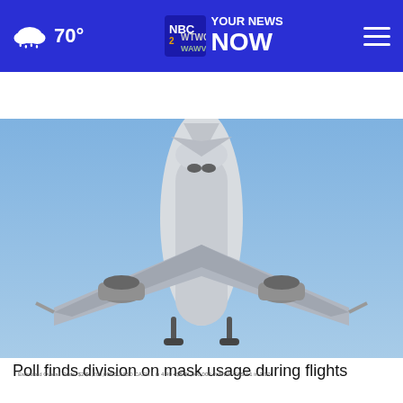70° | WTWC WAWV NBC2 YOUR NEWS NOW
AROUND THE WEB
[Figure (photo): Commercial airplane viewed head-on from below against a blue sky, showing nose, wings, engines and landing gear]
Poll finds division on mask usage during flights
[Figure (infographic): Lottery advertisement banner: Jumbo Fun Sweepstakes - Enter for a chance to win Scratch-offs - ENTER NOW button]